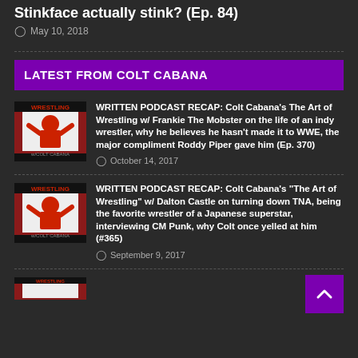Stinkface actually stink? (Ep. 84)
May 10, 2018
LATEST FROM COLT CABANA
[Figure (photo): Wrestling with Colt Cabana podcast thumbnail - man in red wrestling gear flexing]
WRITTEN PODCAST RECAP: Colt Cabana’s The Art of Wrestling w/ Frankie The Mobster on the life of an indy wrestler, why he believes he hasn’t made it to WWE, the major compliment Roddy Piper gave him (Ep. 370)
October 14, 2017
[Figure (photo): Wrestling with Colt Cabana podcast thumbnail - man in red wrestling gear flexing]
WRITTEN PODCAST RECAP: Colt Cabana’s “The Art of Wrestling” w/ Dalton Castle on turning down TNA, being the favorite wrestler of a Japanese superstar, interviewing CM Punk, why Colt once yelled at him (#365)
September 9, 2017
[Figure (photo): Partial wrestling thumbnail at bottom of page]